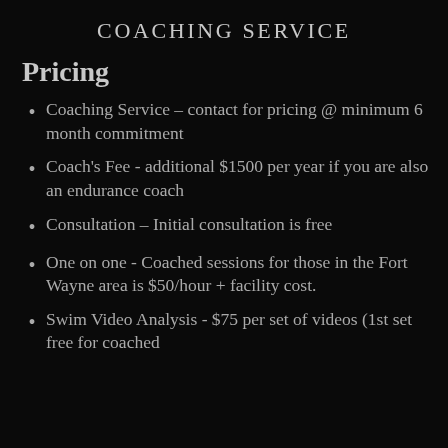COACHING SERVICE
Pricing
Coaching Service – contact for pricing @ minimum 6 month commitment
Coach's Fee - additional $1500 per year if you are also an endurance coach
Consultation – Initial consultation is free
One on one - Coached sessions for those in the Fort Wayne area is $50/hour + facility cost.
Swim Video Analysis - $75 per set of videos (1st set free for coached